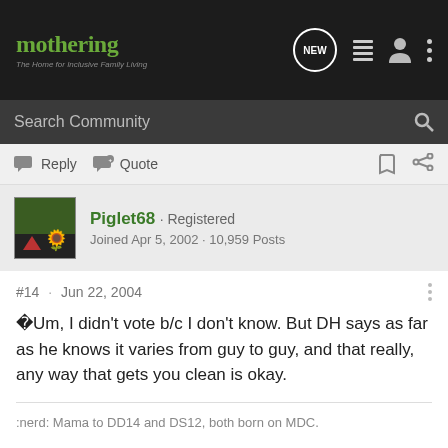[Figure (screenshot): Mothering forum website header with logo, search bar, and navigation icons]
mothering · The Home for Inclusive Family Living
Search Community
Reply  Quote
Piglet68 · Registered
Joined Apr 5, 2002 · 10,959 Posts
#14 · Jun 22, 2004
�Um, I didn't vote b/c I don't know. But DH says as far as he knows it varies from guy to guy, and that really, any way that gets you clean is okay.
:nerd: Mama to DD14 and DS12, both born on MDC.